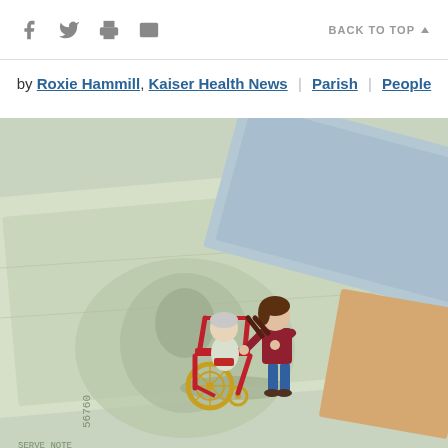Social icons (Facebook, Twitter, Print, Email) | BACK TO TOP
by Roxie Hammill, Kaiser Health News | Parish | People
[Figure (photo): Miniature figurines of a caregiver pushing an elderly person in a red wheelchair, placed on top of US $100 dollar bills, symbolizing healthcare costs and caregiving expenses.]